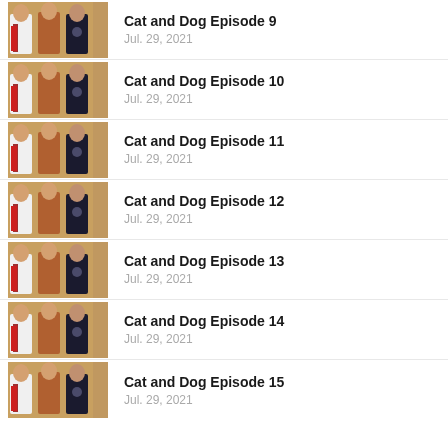Cat and Dog Episode 9
Jul. 29, 2021
Cat and Dog Episode 10
Jul. 29, 2021
Cat and Dog Episode 11
Jul. 29, 2021
Cat and Dog Episode 12
Jul. 29, 2021
Cat and Dog Episode 13
Jul. 29, 2021
Cat and Dog Episode 14
Jul. 29, 2021
Cat and Dog Episode 15
Jul. 29, 2021